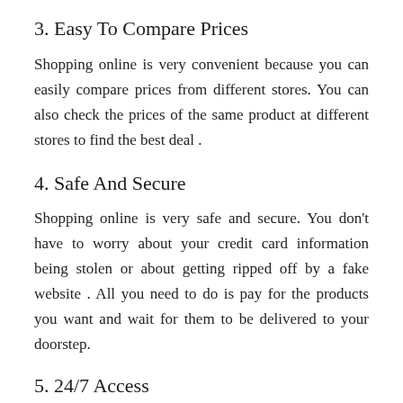3. Easy To Compare Prices
Shopping online is very convenient because you can easily compare prices from different stores. You can also check the prices of the same product at different stores to find the best deal .
4. Safe And Secure
Shopping online is very safe and secure. You don't have to worry about your credit card information being stolen or about getting ripped off by a fake website . All you need to do is pay for the products you want and wait for them to be delivered to your doorstep.
5. 24/7 Access